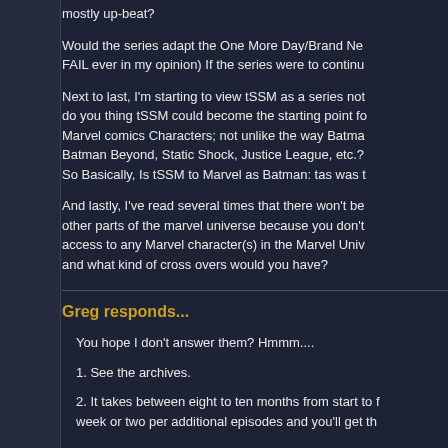mostly up-beat?
Would the series adapt the One More Day/Brand Ne... FAIL ever in my opinion) If the series were to continu...
Next to last, I'm starting to view tSSM as a series no... do you thing tSSM could become the starting point fo... Marvel comics Characters; not unlike the way Batma... Batman Beyond, Static Shock, Justice League, etc.? So Basically, Is tSSM to Marvel as Batman: tas was t...
And lastly, I've read several times that there won't be... other parts of the marvel universe because you don't... access to any Marvel character(s) in the Marvel Univ... and what kind of cross overs would you have?
Greg responds...
You hope I don't answer them? Hmmm....
1. See the archives.
2. It takes between eight to ten months from start to f... week or two per additional episodes and you'll get th...